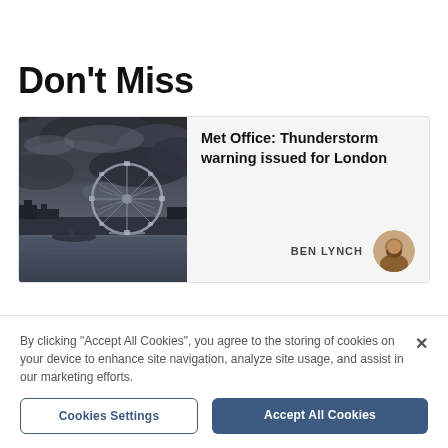Don't Miss
[Figure (photo): Article card with thumbnail photo of London Eye under dark stormy clouds (HDR style), with article headline 'Met Office: Thunderstorm warning issued for London' and author BEN LYNCH with circular avatar photo]
By clicking “Accept All Cookies”, you agree to the storing of cookies on your device to enhance site navigation, analyze site usage, and assist in our marketing efforts.
Cookies Settings
Accept All Cookies